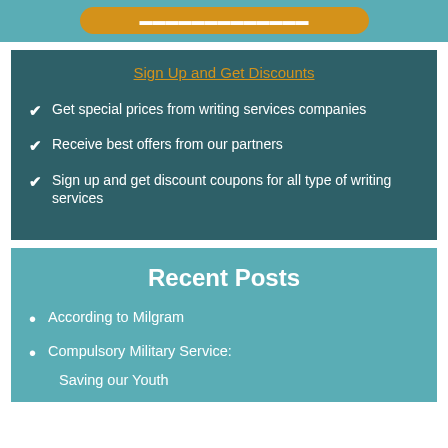[Figure (other): Top teal strip with orange rounded button partially visible]
Sign Up and Get Discounts
Get special prices from writing services companies
Receive best offers from our partners
Sign up and get discount coupons for all type of writing services
Recent Posts
According to Milgram
Compulsory Military Service: Saving our Youth